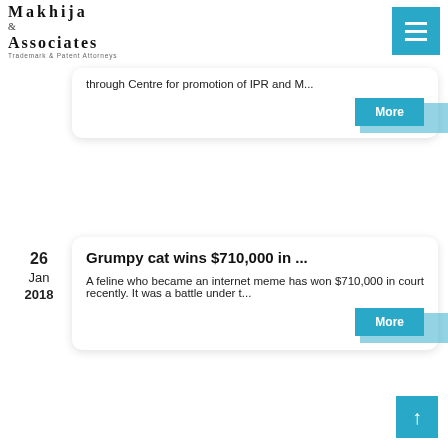[Figure (logo): Makhija & Associates Trademark & Patent Attorneys logo with hamburger menu button]
through Centre for promotion of IPR and M...
[Figure (other): More button (blue)]
26
Jan
2018
Grumpy cat wins $710,000 in ...
A feline who became an internet meme has won $710,000 in court recently. It was a battle under t...
[Figure (other): More button (blue)]
[Figure (other): Scroll to top button (blue arrow up)]